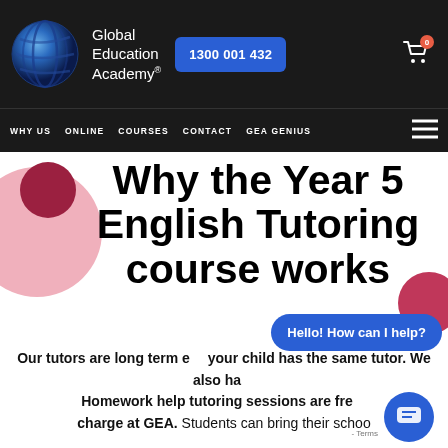[Figure (logo): Global Education Academy logo with blue globe sphere and text 'Global Education Academy®' and phone button '1300 001 432']
WHY US   ONLINE   COURSES   CONTACT   GEA GENIUS
Why the Year 5 English Tutoring course works
Our tutors are long term … your child has the same tutor. We also ha… Homework help tutoring sessions are fre… charge at GEA. Students can bring their schoo…
[Figure (screenshot): Chat widget with bubble saying 'Hello! How can I help?' and chat icon button]